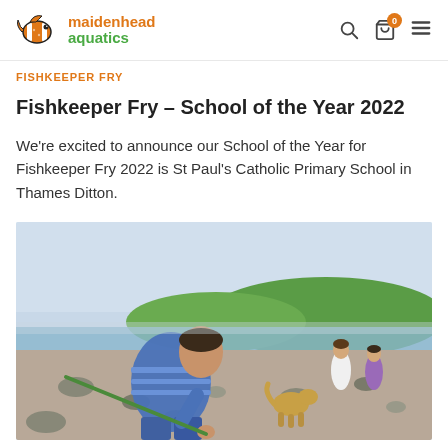maidenhead aquatics – navigation header with logo, search, cart (0 items), and menu
FISHKEEPER FRY
Fishkeeper Fry – School of the Year 2022
We're excited to announce our School of the Year for Fishkeeper Fry 2022 is St Paul's Catholic Primary School in Thames Ditton.
[Figure (photo): Children and a dog on a rocky beach. A boy in a blue striped sweater bends down to explore rocks close to the camera; two children stand in the background near the water with green hills beyond.]